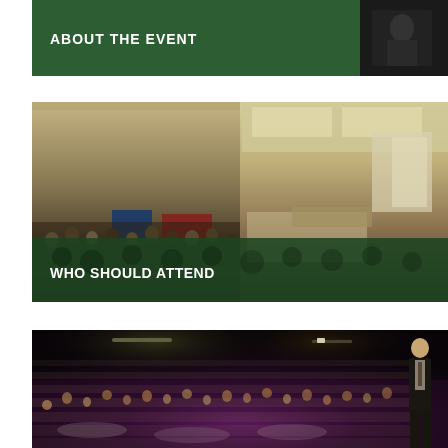[Figure (photo): Green banner with text 'ABOUT THE EVENT' overlaid on a dark event photo on the right side]
[Figure (photo): Two conference hall photos side by side showing crowds of attendees and exhibition booths, with a dark green overlay banner reading 'WHO SHOULD ATTEND']
[Figure (photo): Large banquet/gala dinner hall filled with attendees seated at round tables under dim purple-tinted lighting, with a person standing on the right]